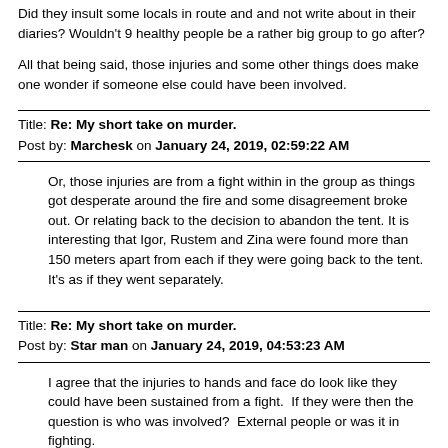Did they insult some locals in route and and not write about in their diaries? Wouldn't 9 healthy people be a rather big group to go after?
All that being said, those injuries and some other things does make one wonder if someone else could have been involved.
Title: Re: My short take on murder.
Post by: Marchesk on January 24, 2019, 02:59:22 AM
Or, those injuries are from a fight within in the group as things got desperate around the fire and some disagreement broke out. Or relating back to the decision to abandon the tent. It is interesting that Igor, Rustem and Zina were found more than 150 meters apart from each if they were going back to the tent. It's as if they went separately.
Title: Re: My short take on murder.
Post by: Star man on January 24, 2019, 04:53:23 AM
I agree that the injuries to hands and face do look like they could have been sustained from a fight.  If they were then the question is who was involved?  External people or was it in fighting.
When you consider however that there were 7 young physically fit men and 2 physically fit women they should have been able between them to take on a fair number of external